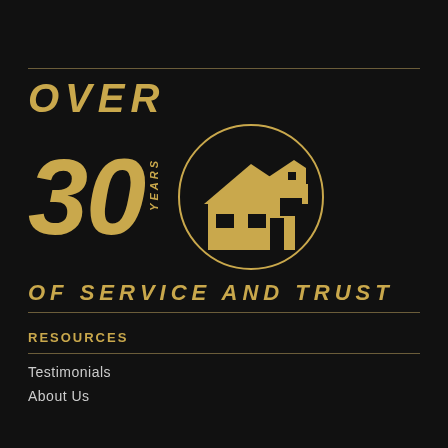[Figure (illustration): A circular icon containing a house/home silhouette in gold, set against a dark background. Next to it, large gold italic text reads OVER 30 YEARS OF SERVICE AND TRUST.]
RESOURCES
Testimonials
About Us